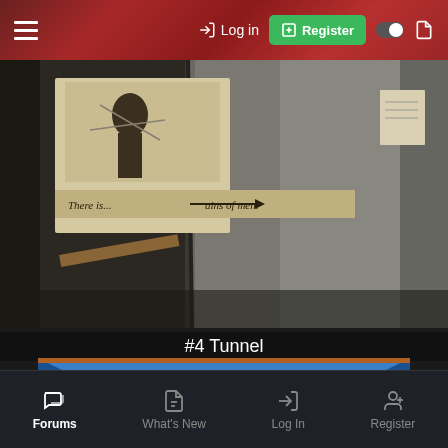Log in | Register
[Figure (photo): Close-up photo of a stone tunnel wall with old faded posters/signage attached. Visible text on poster reads 'There...' and '...ains of men.' in old-style lettering. Stone/concrete wall surface visible.]
#4 Tunnel
[Figure (photo): Interior looking down a narrow wooden-lined tunnel illuminated with blue light. Wooden planks visible on ceiling and walls receding into darkness.]
Forums | What's New | Log In | Register